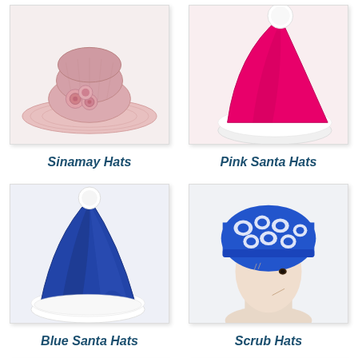[Figure (photo): Pink sinamay hat with rose decorations on white background]
Sinamay Hats
[Figure (photo): Pink Santa hat with white fur trim and white pom-pom]
Pink Santa Hats
[Figure (photo): Blue velvet Santa hat with white fur trim and white pom-pom]
Blue Santa Hats
[Figure (photo): Blue and white floral patterned scrub hat on mannequin head]
Scrub Hats
[Figure (photo): Partial view of hat at bottom left (cut off)]
[Figure (photo): Partial view of hat at bottom right (cut off)]